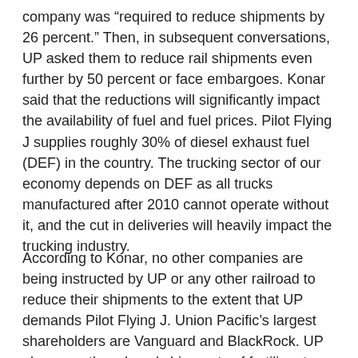company was “required to reduce shipments by 26 percent.” Then, in subsequent conversations, UP asked them to reduce rail shipments even further by 50 percent or face embargoes. Konar said that the reductions will significantly impact the availability of fuel and fuel prices. Pilot Flying J supplies roughly 30% of diesel exhaust fuel (DEF) in the country. The trucking sector of our economy depends on DEF as all trucks manufactured after 2010 cannot operate without it, and the cut in deliveries will heavily impact the trucking industry.
According to Konar, no other companies are being instructed by UP or any other railroad to reduce their shipments to the extent that UP demands Pilot Flying J. Union Pacific’s largest shareholders are Vanguard and BlackRock. UP also recently reduced shipments of fertilizer to farmers. Internet critic Jim Stone suggested that Pilot Flying J knowingly caused the problem by changing their paperwork to jam up the system,